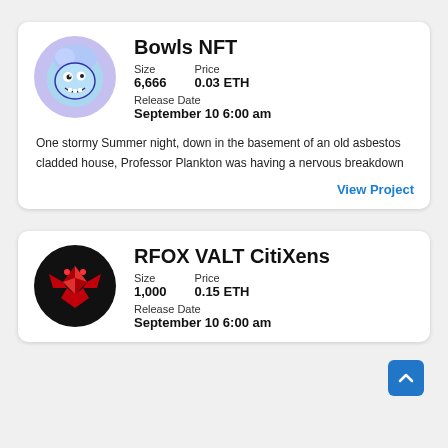[Figure (illustration): Bowls NFT logo: cartoon blue wave/plankton character with googly eyes and teeth on a purple circle background]
Bowls NFT
Size
6,666
Price
0.03 ETH
Release Date
September 10 6:00 am
One stormy Summer night, down in the basement of an old asbestos cladded house, Professor Plankton was having a nervous breakdown
View Project
[Figure (illustration): RFOX VALT CitiXens logo: red bat/diamond icon on black circle background]
RFOX VALT CitiXens
Size
1,000
Price
0.15 ETH
Release Date
September 10 6:00 am